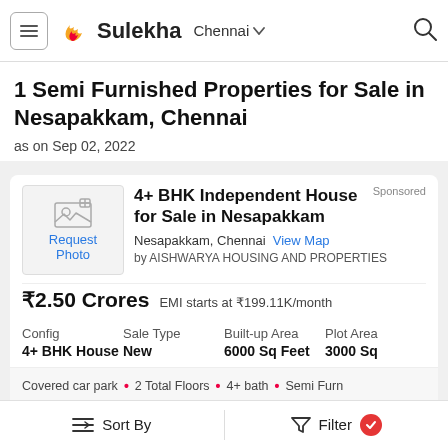Sulekha  Chennai
1 Semi Furnished Properties for Sale in Nesapakkam, Chennai
as on Sep 02, 2022
Sponsored
[Figure (photo): Request Photo placeholder image with image icon]
4+ BHK Independent House for Sale in Nesapakkam
Nesapakkam, Chennai  View Map
by AISHWARYA HOUSING AND PROPERTIES
₹2.50 Crores  EMI starts at ₹199.11K/month
| Config | Sale Type | Built-up Area | Plot Area |
| --- | --- | --- | --- |
| 4+ BHK House | New | 6000 Sq Feet | 3000 Sq |
Covered car park  •  2 Total Floors  •  4+ bath  •  Semi Furn
Sort By     Filter